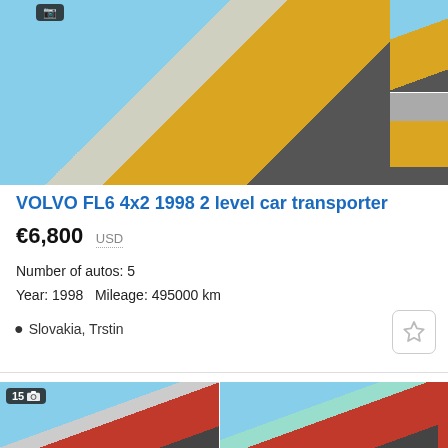[Figure (photo): Yellow Volvo FL6 car transporter truck, main side view, with upper deck ramps visible]
[Figure (photo): Yellow Volvo FL6 front view]
[Figure (photo): Yellow Volvo FL6 side/rear view near wall]
VOLVO FL6 4x2 1998 2 level car transporter
€6,800  USD
Number of autos: 5
Year: 1998   Mileage: 495000 km
Slovakia, Trstin
[Figure (photo): Red Volvo car transporter truck with trailer, left view]
[Figure (photo): Red Volvo car transporter truck with trailer, right view]